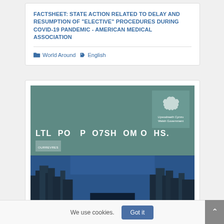FACTSHEET: STATE ACTION RELATED TO DELAY AND RESUMPTION OF "ELECTIVE" PROCEDURES DURING COVID-19 PANDEMIC - AMERICAN MEDICAL ASSOCIATION
World Around  English
[Figure (photo): Cover image of a Welsh Government document showing styled text 'LTL PO P O7SH OMO HS' with subtitle bar and a castle photograph in the lower half against a blue background. Welsh Government dragon logo in upper right corner.]
We use cookies.  Got it